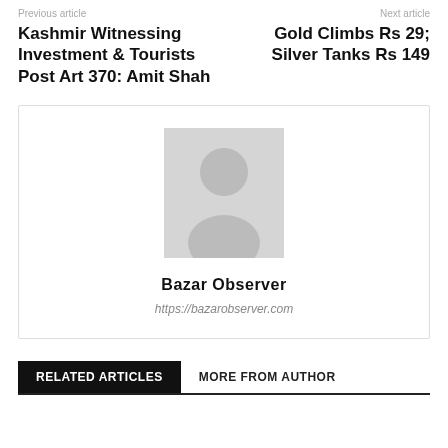Previous article | Next article
Kashmir Witnessing Investment & Tourists Post Art 370: Amit Shah
Gold Climbs Rs 29; Silver Tanks Rs 149
[Figure (illustration): Generic author avatar placeholder — grey silhouette of a person on light grey background]
Bazar Observer
https://bazarobserver.com
RELATED ARTICLES
MORE FROM AUTHOR